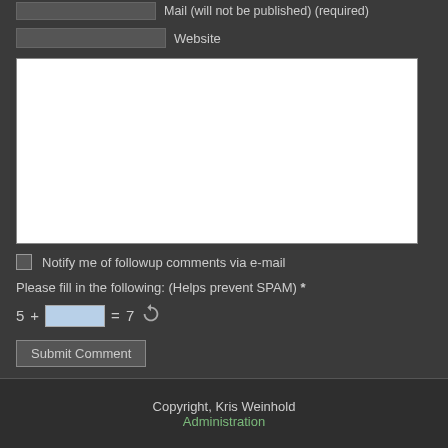Mail (will not be published) (required)
Website
Notify me of followup comments via e-mail
Please fill in the following: (Helps prevent SPAM) *
5 + = 7
Submit Comment
Copyright, Kris Weinhold
Administration